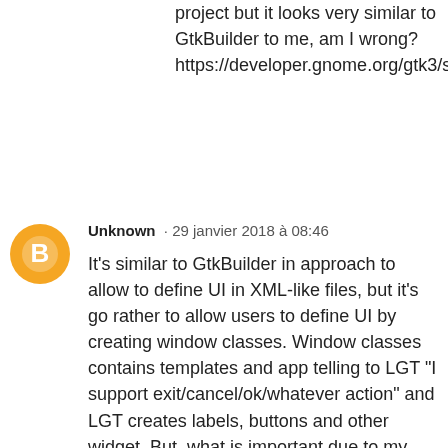project but it looks very similar to GtkBuilder to me, am I wrong? https://developer.gnome.org/gtk3/stable/GtkBuilder.html
Unknown · 29 janvier 2018 à 08:46
It's similar to GtkBuilder in approach to allow to define UI in XML-like files, but it's go rather to allow users to define UI by creating window classes. Window classes contains templates and app telling to LGT "I support exit/cancel/ok/whatever action" and LGT creates labels, buttons and other widget. But, what is important due to my previous post, application can tell to LGT "save action is very important", so save action is placed